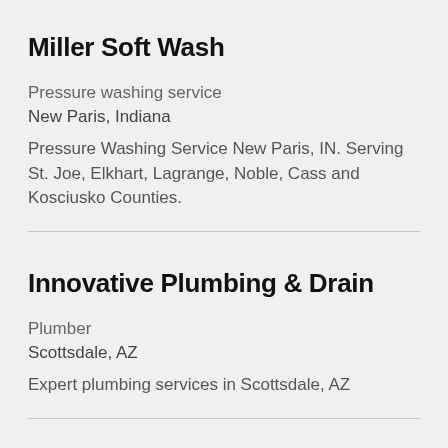Miller Soft Wash
Pressure washing service
New Paris, Indiana
Pressure Washing Service New Paris, IN. Serving St. Joe, Elkhart, Lagrange, Noble, Cass and Kosciusko Counties.
Innovative Plumbing & Drain
Plumber
Scottsdale, AZ
Expert plumbing services in Scottsdale, AZ
SUDBURY PLUMBING, HEATING & COOLING